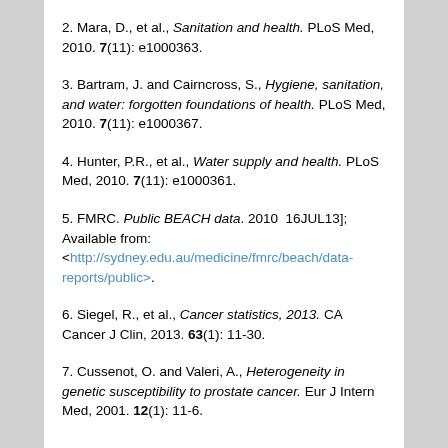2. Mara, D., et al., Sanitation and health. PLoS Med, 2010. 7(11): e1000363.
3. Bartram, J. and Cairncross, S., Hygiene, sanitation, and water: forgotten foundations of health. PLoS Med, 2010. 7(11): e1000367.
4. Hunter, P.R., et al., Water supply and health. PLoS Med, 2010. 7(11): e1000361.
5. FMRC. Public BEACH data. 2010  16JUL13]; Available from: <http://sydney.edu.au/medicine/fmrc/beach/data-reports/public>.
6. Siegel, R., et al., Cancer statistics, 2013. CA Cancer J Clin, 2013. 63(1): 11-30.
7. Cussenot, O. and Valeri, A., Heterogeneity in genetic susceptibility to prostate cancer. Eur J Intern Med, 2001. 12(1): 11-6.